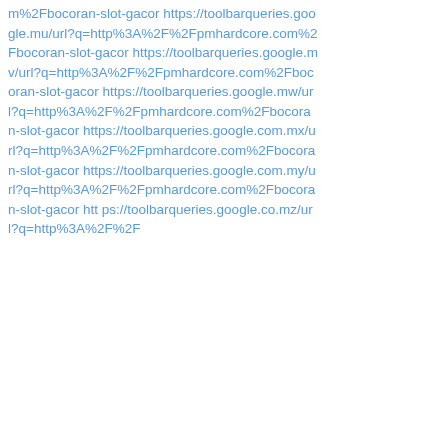m%2Fbocoran-slot-gacor https://toolbarqueries.google.mu/url?q=http%3A%2F%2Fpmhardcore.com%2Fbocoran-slot-gacor https://toolbarqueries.google.mv/url?q=http%3A%2F%2Fpmhardcore.com%2Fbocoran-slot-gacor https://toolbarqueries.google.mw/url?q=http%3A%2F%2Fpmhardcore.com%2Fbocoran-slot-gacor https://toolbarqueries.google.com.mx/url?q=http%3A%2F%2Fpmhardcore.com%2Fbocoran-slot-gacor https://toolbarqueries.google.com.my/url?q=http%3A%2F%2Fpmhardcore.com%2Fbocoran-slot-gacor htt ps://toolbarqueries.google.co.mz/url?q=http%3A%2F%2F